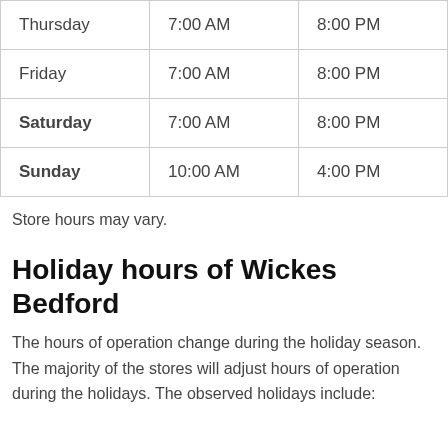| Thursday | 7:00 AM | 8:00 PM |
| Friday | 7:00 AM | 8:00 PM |
| Saturday | 7:00 AM | 8:00 PM |
| Sunday | 10:00 AM | 4:00 PM |
Store hours may vary.
Holiday hours of Wickes Bedford
The hours of operation change during the holiday season. The majority of the stores will adjust hours of operation during the holidays. The observed holidays include: